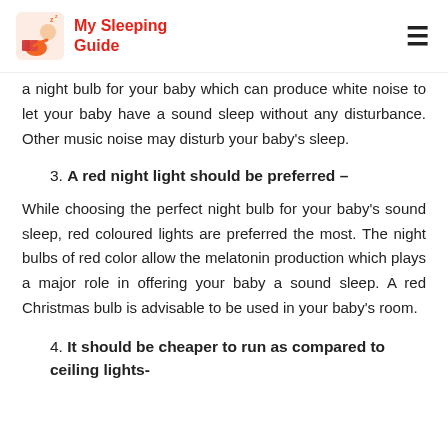My Sleeping Guide
a night bulb for your baby which can produce white noise to let your baby have a sound sleep without any disturbance. Other music noise may disturb your baby's sleep.
3. A red night light should be preferred –
While choosing the perfect night bulb for your baby's sound sleep, red coloured lights are preferred the most. The night bulbs of red color allow the melatonin production which plays a major role in offering your baby a sound sleep. A red Christmas bulb is advisable to be used in your baby's room.
4. It should be cheaper to run as compared to ceiling lights-